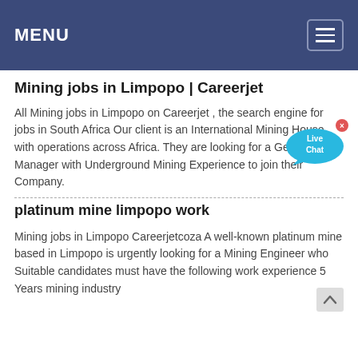MENU
Mining jobs in Limpopo | Careerjet
All Mining jobs in Limpopo on Careerjet , the search engine for jobs in South Africa Our client is an International Mining House with operations across Africa. They are looking for a General Manager with Underground Mining Experience to join their Company.
platinum mine limpopo work
Mining jobs in Limpopo Careerjetcoza A well-known platinum mine based in Limpopo is urgently looking for a Mining Engineer who Suitable candidates must have the following work experience 5 Years mining industry